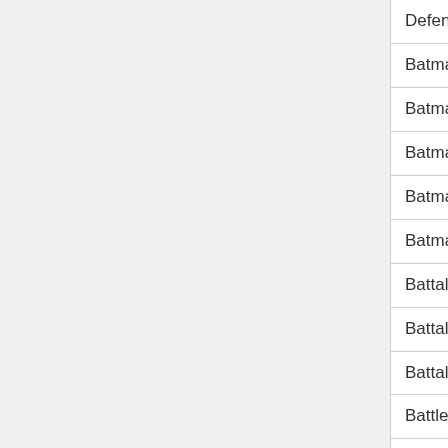| Name | Col2 | Col3 |
| --- | --- | --- |
| Defender | N/A | N |
| Batman: Return to Arkham | N/A | N |
| Batman: Skycreeper | N/A | N |
| Batman: The Cobblebot Caper | N/A | N |
| Batman: The Umbrella Attack | N/A | N |
| Batman: Thief Locator | N/A | N |
| Battalion Commander | N/A | N |
| Battalion Skirmish | N/A | N |
| Battalion: Nemesis | N/A | N |
| Battle Gear | N/A | N |
| Battle Gear 2: World Domination | N/A | N |
| Battle for Gondor | N/A | N |
| Battle of the Four Kingdoms (Beta) | N/A | N |